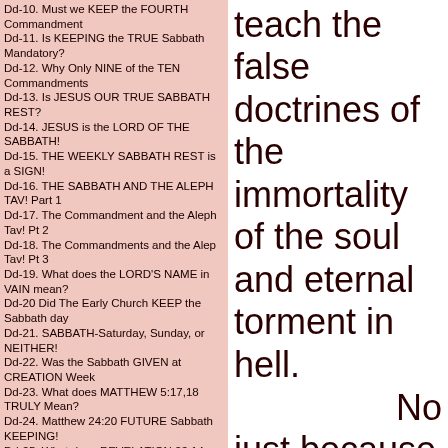Dd-10. Must we KEEP the FOURTH Commandment
Dd-11. Is KEEPING the TRUE Sabbath Mandatory?
Dd-12. Why Only NINE of the TEN Commandments
Dd-13. Is JESUS OUR TRUE SABBATH REST?
Dd-14. JESUS is the LORD OF THE SABBATH!
Dd-15. THE WEEKLY SABBATH REST is a SIGN!
Dd-16. THE SABBATH AND THE ALEPH TAV! Part 1
Dd-17. The Commandment and the Aleph Tav! Pt 2
Dd-18. The Commandments and the Alep Tav! Pt 3
Dd-19. What does the LORD'S NAME in VAIN mean?
Dd-20 Did The Early Church KEEP the Sabbath day
Dd-21. SABBATH-Saturday, Sunday, or NEITHER!
Dd-22. Was the Sabbath GIVEN at CREATION Week
Dd-23. What does MATTHEW 5:17,18 TRULY Mean?
Dd-24. Matthew 24:20 FUTURE Sabbath KEEPING!
Dd-25. What does REVELATION 22:14 TRULY Mean
Dd-26. Is the SABBATH DAY THE LORD'S DAY?
Dd-27. WAS JESUS RESURRECTED ON SUNDAY?
Dd-28. ARE THE SABBATH KEEPERS RIGHT?
Dd-29. Which COVENANT Must We OBEY? Part 2.
Dd-30. The Sabbath was NOT Abolished! Part 3.
Dd-31. Are You TWISTING the SCRIPTURES? Part 4
Dd-32. Did God CHANGE His LAWS? Part 5.
Dd-33. The REASON for the SEVEN FEAST DAYS!
teach the false doctrines of the immortality of the soul and eternal torment in hell.
No
just because the soul is NOT IMMORTAL does NOT